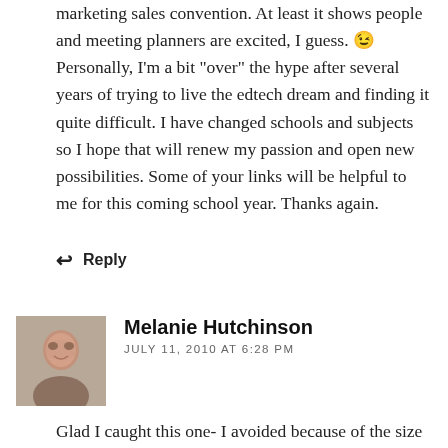marketing sales convention. At least it shows people and meeting planners are excited, I guess. 😉 Personally, I'm a bit “over” the hype after several years of trying to live the edtech dream and finding it quite difficult. I have changed schools and subjects so I hope that will renew my passion and open new possibilities. Some of your links will be helpful to me for this coming school year. Thanks again.
↩ Reply
Melanie Hutchinson
JULY 11, 2010 AT 6:28 PM
Glad I caught this one- I avoided because of the size but still feel the need to go one day! Interested in what you said about the iPad- I’m